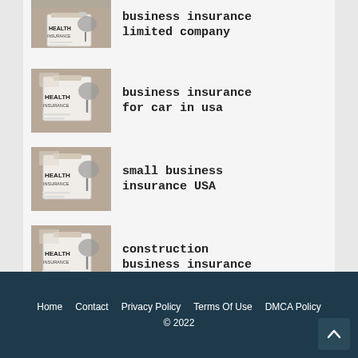[Figure (photo): Health insurance clipboard with stethoscope image (partial top)]
business insurance limited company
[Figure (photo): Health insurance clipboard with stethoscope image]
business insurance for car in usa
[Figure (photo): Health insurance clipboard with stethoscope image]
small business insurance USA
[Figure (photo): Health insurance clipboard with stethoscope image]
construction business insurance
Home  Contact  Privacy Policy  Terms Of Use  DMCA Policy
© 2022